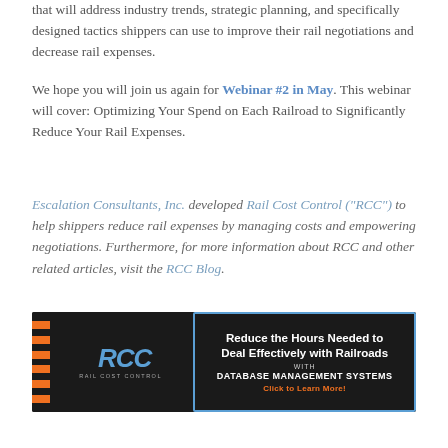that will address industry trends, strategic planning, and specifically designed tactics shippers can use to improve their rail negotiations and decrease rail expenses.
We hope you will join us again for Webinar #2 in May. This webinar will cover: Optimizing Your Spend on Each Railroad to Significantly Reduce Your Rail Expenses.
Escalation Consultants, Inc. developed Rail Cost Control ("RCC")  to help shippers reduce rail expenses by managing costs and empowering negotiations. Furthermore, for more information about RCC and other related articles, visit the RCC Blog.
[Figure (logo): RCC Rail Cost Control advertisement banner: dark background with orange ladder graphic on the left, blue RCC logo text, and right panel with blue border showing 'Reduce the Hours Needed to Deal Effectively with Railroads WITH DATABASE MANAGEMENT SYSTEMS Click to Learn More!']